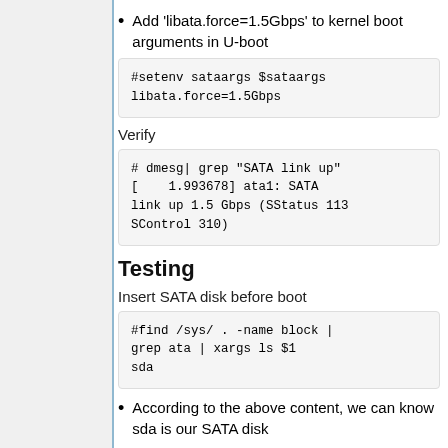Add 'libata.force=1.5Gbps' to kernel boot arguments in U-boot
#setenv sataargs $sataargs libata.force=1.5Gbps
Verify
# dmesg| grep "SATA link up"
[    1.993678] ata1: SATA link up 1.5 Gbps (SStatus 113 SControl 310)
Testing
Insert SATA disk before boot
#find /sys/ . -name block | grep ata | xargs ls $1
sda
According to the above content, we can know sda is our SATA disk
Generate random file